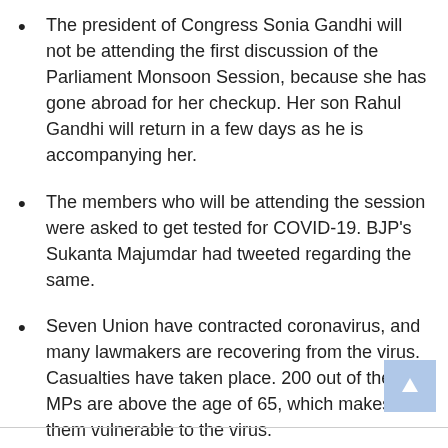The president of Congress Sonia Gandhi will not be attending the first discussion of the Parliament Monsoon Session, because she has gone abroad for her checkup. Her son Rahul Gandhi will return in a few days as he is accompanying her.
The members who will be attending the session were asked to get tested for COVID-19. BJP's Sukanta Majumdar had tweeted regarding the same.
Seven Union have contracted coronavirus, and many lawmakers are recovering from the virus. Casualties have taken place. 200 out of the 785 MPs are above the age of 65, which makes them vulnerable to the virus.
Precautionary measures are being implemented to ensure the safety of all the members while attending the Parliament Monsoon Session.